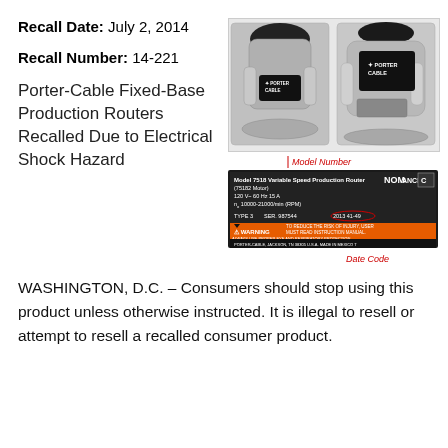Recall Date: July 2, 2014
Recall Number: 14-221
[Figure (photo): Two views of a Porter-Cable Fixed-Base Production Router — front and back — showing the silver and black unit with Porter-Cable branding labels. Below the photos is a close-up of the model label: 'Model 7518 Variable Speed Production Router (75182 Motor), 120V, 60Hz, 15A, no. 10000-21000/min (RPM), TYPE 3, SER. 987544, Date Code 2013 41-49', with a WARNING label and NOM/ANCE and CSA US certifications. Red circled annotations label 'Model Number' and 'Date Code'.]
Porter-Cable Fixed-Base Production Routers Recalled Due to Electrical Shock Hazard
WASHINGTON, D.C. – Consumers should stop using this product unless otherwise instructed. It is illegal to resell or attempt to resell a recalled consumer product.